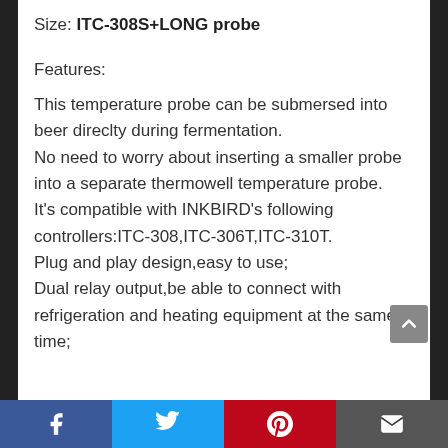Size: ITC-308S+LONG probe
Features:
This temperature probe can be submersed into beer direclty during fermentation. No need to worry about inserting a smaller probe into a separate thermowell temperature probe. It’s compatible with INKBIRD’s following controllers:ITC-308,ITC-306T,ITC-310T. Plug and play design,easy to use; Dual relay output,be able to connect with refrigeration and heating equipment at the same time;
Social share bar: Facebook, Twitter, Pinterest, Email